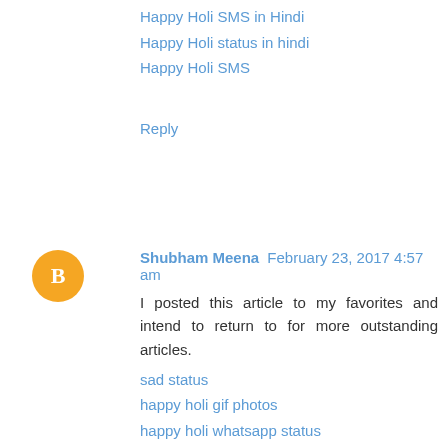Happy Holi SMS in Hindi
Happy Holi status in hindi
Happy Holi SMS
Reply
Shubham Meena  February 23, 2017 4:57 am
I posted this article to my favorites and intend to return to for more outstanding articles.
sad status
happy holi gif photos
happy holi whatsapp status
free recharge tricks
happy holi images
holi 2017 photos
best holi songs,
happy holi 2017 images
happy holi quotes
happy holi shayari
Happy Holi 2017
Happy Holi 2017 Messages
Holi Essay